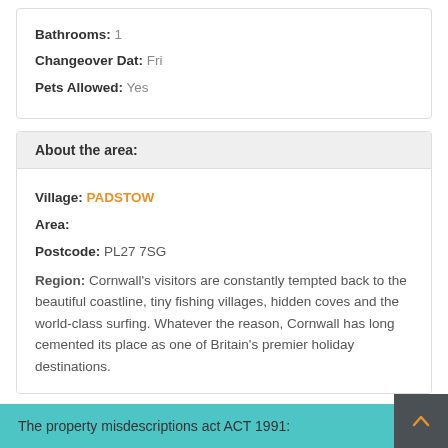Bathrooms: 1
Changeover Dat: Fri
Pets Allowed: Yes
About the area:
Village: PADSTOW
Area:
Postcode: PL27 7SG
Region: Cornwall's visitors are constantly tempted back to the beautiful coastline, tiny fishing villages, hidden coves and the world-class surfing. Whatever the reason, Cornwall has long cemented its place as one of Britain's premier holiday destinations.
The property misdescriptions act ACT 1991: